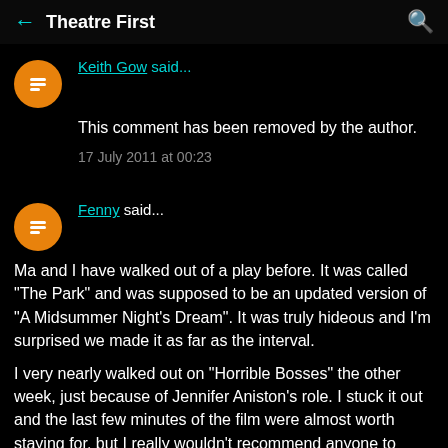← Theatre First 🔍
Keith Gow said...
This comment has been removed by the author.
17 July 2011 at 00:23
Fenny said...
Ma and I have walked out of a play before. It was called "The Park" and was supposed to be an updated version of "A Midsummer Night's Dream". It was truly hideous and I'm surprised we made it as far as the interval.

I very nearly walked out on "Horrible Bosses" the other week, just because of Jennifer Aniston's role. I stuck it out and the last few minutes of the film were almost worth staying for, but I really wouldn't recommend anyone to waste money on it. Because I have an unlimited subscription, I can cope with the